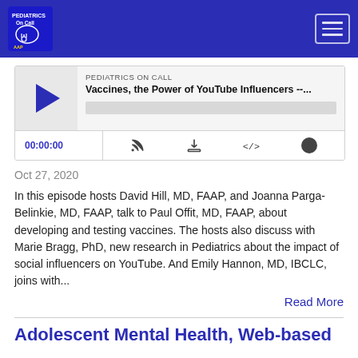PEDIATRICS ON CALL — navigation header with logo and hamburger menu
[Figure (screenshot): Podcast audio player widget showing play button, title 'Vaccines, the Power of YouTube Influencers --...', progress bar, time 00:00:00, and control icons (RSS, download, embed, share)]
Oct 27, 2020
In this episode hosts David Hill, MD, FAAP, and Joanna Parga-Belinkie, MD, FAAP, talk to Paul Offit, MD, FAAP, about developing and testing vaccines. The hosts also discuss with Marie Bragg, PhD, new research in Pediatrics about the impact of social influencers on YouTube. And Emily Hannon, MD, IBCLC, joins with...
Read More
Adolescent Mental Health, Web-based